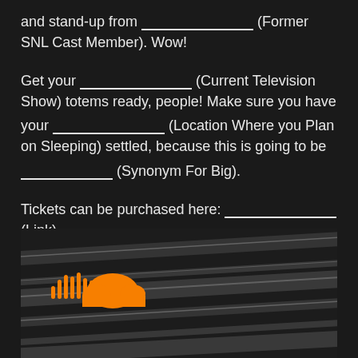and stand-up from ___________________ (Former SNL Cast Member). Wow!
Get your ___________________ (Current Television Show) totems ready, people! Make sure you have your ___________________ (Location Where you Plan on Sleeping) settled, because this is going to be ___________________ (Synonym For Big).
Tickets can be purchased here: ___________________ (Link).
[Image Labelled for ReUse]
[Figure (photo): Dark metallic background with SoundCloud orange logo (cloud with sound bars) in the lower left area]